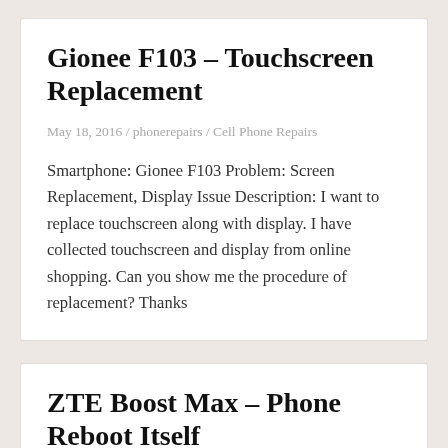Gionee F103 – Touchscreen Replacement
May 18, 2016 / phonerepairs / Cell Phone Repairs
Smartphone: Gionee F103 Problem: Screen Replacement, Display Issue Description: I want to replace touchscreen along with display. I have collected touchscreen and display from online shopping. Can you show me the procedure of replacement? Thanks
ZTE Boost Max – Phone Reboot Itself